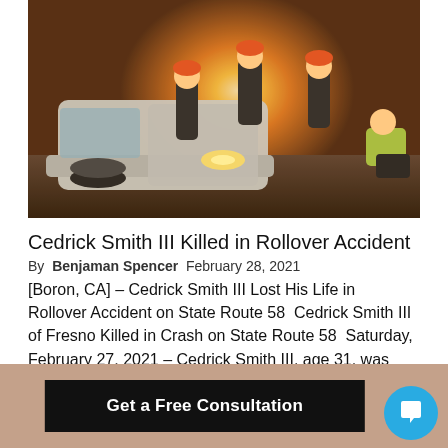[Figure (photo): Emergency responders at a vehicle rollover accident scene. A white van lies on its side, firefighters and a paramedic in a yellow vest attend to the scene with bright backlight from the sun.]
Cedrick Smith III Killed in Rollover Accident
By  Benjaman Spencer  February 28, 2021
[Boron, CA] – Cedrick Smith III Lost His Life in Rollover Accident on State Route 58  Cedrick Smith III of Fresno Killed in Crash on State Route 58  Saturday, February 27, 2021 – Cedrick Smith III, age 31, was killed on Tuesday afternoon
Get a Free Consultation